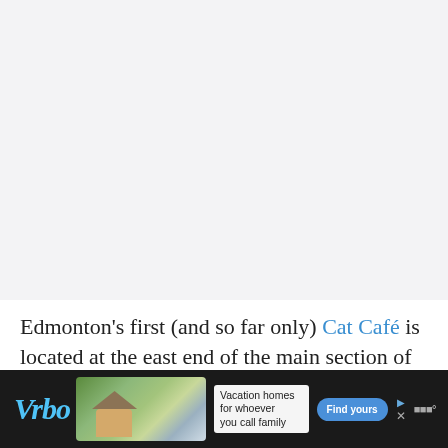[Figure (photo): Large image area placeholder, light gray background, content not visible]
Edmonton's first (and so far only) Cat Café is located at the east end of the main section of Whyte Ave. The cafe welcomes children, but kids under 7 can only enter
[Figure (other): Vrbo advertisement banner with photo of vacation home and mountain backdrop, text: Vacation homes for whoever you call family, with Find yours button]